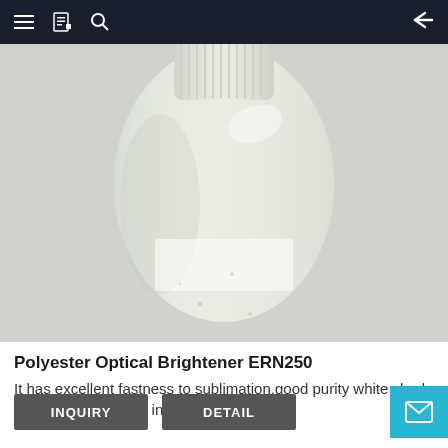≡  [book icon]  🔍  ←
[Figure (photo): A white plastic bottle with a white ribbed cap containing a white/off-white powder (Polyester Optical Brightener ERN250), photographed against a light gray background.]
Polyester Optical Brightener ERN250
It has excellent fastness to sublimation,good purity white shade and good whiteness in polyester fiber or